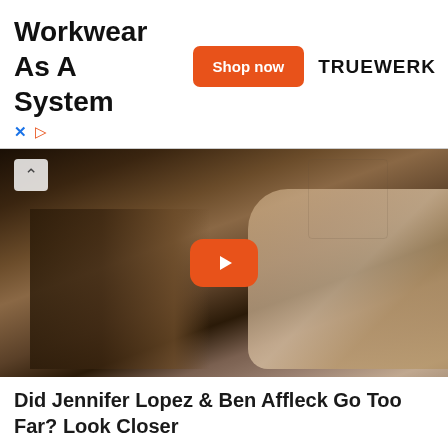[Figure (screenshot): Advertisement banner for Truewerk workwear with title 'Workwear As A System', orange 'Shop now' button, and TRUEWERK brand name]
× ▷
[Figure (screenshot): Video thumbnail showing two people in a dramatic scene with a YouTube-style orange play button overlay and a chevron up control]
Did Jennifer Lopez & Ben Affleck Go Too Far? Look Closer
Traitslab
[Figure (photo): Partial image of an elderly man with white hair covering his face with his hand, with a yellow scroll-up button in the lower right]